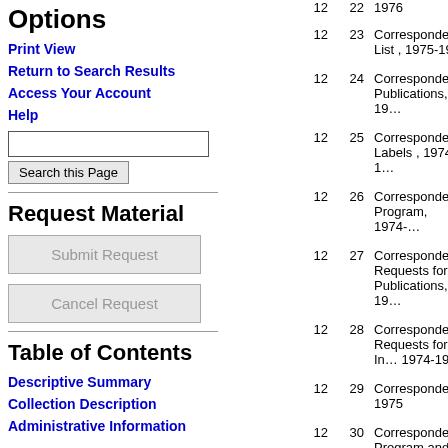Options
Print View
Return to Search Results
Access Your Account
Help
[search input] Search this Page
Request Material
Submit Request
Cancel Request
Table of Contents
Descriptive Summary
Collection Description
Administrative Information
12  22  1976
12  23  Correspondence List , 1975-1976
12  24  Correspondence Publications, 19...
12  25  Correspondence Labels , 1974-1...
12  26  Correspondence Program, 1974-...
12  27  Correspondence Requests for Publications, 19...
12  28  Correspondence Requests for In... 1974-1975
12  29  Correspondence 1975
12  30  Correspondence Program and O... School Reques... 1975
12  31  "Johnson" Cam...